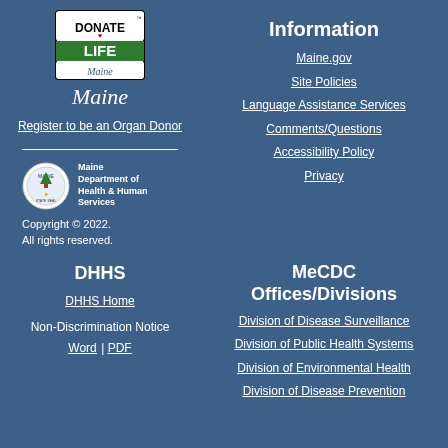[Figure (logo): Donate Life Maine logo with black border and green LIFE banner]
Maine (script/cursive)
Register to be an Organ Donor
[Figure (logo): Maine Department of Health & Human Services seal/logo]
Maine Department of Health & Human Services
Copyright © 2022. All rights reserved.
Information
Maine.gov
Site Policies
Language Assistance Services
Comments/Questions
Accessibility Policy
Privacy
DHHS
DHHS Home
Non-Discrimination Notice Word | PDF
MeCDC Offices/Divisions
Division of Disease Surveillance
Division of Public Health Systems
Division of Environmental Health
Division of Disease Prevention